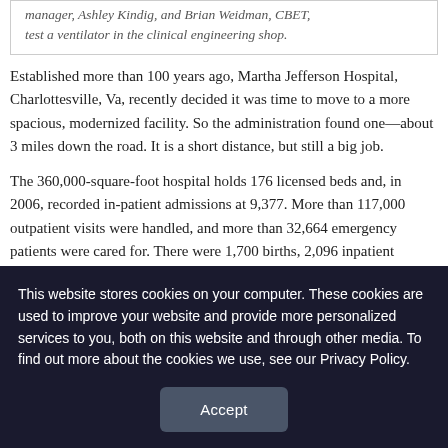manager, Ashley Kindig, and Brian Weidman, CBET, test a ventilator in the clinical engineering shop.
Established more than 100 years ago, Martha Jefferson Hospital, Charlottesville, Va, recently decided it was time to move to a more spacious, modernized facility. So the administration found one—about 3 miles down the road. It is a short distance, but still a big job.
The 360,000-square-foot hospital holds 176 licensed beds and, in 2006, recorded in-patient admissions at 9,377. More than 117,000 outpatient visits were handled, and more than 32,664 emergency patients were cared for. There were 1,700 births, 2,096 inpatient surgeries, and 4,535 outpatient surgeries. Services
This website stores cookies on your computer. These cookies are used to improve your website and provide more personalized services to you, both on this website and through other media. To find out more about the cookies we use, see our Privacy Policy.